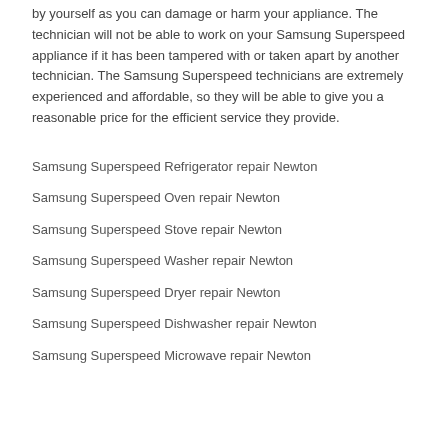by yourself as you can damage or harm your appliance. The technician will not be able to work on your Samsung Superspeed appliance if it has been tampered with or taken apart by another technician. The Samsung Superspeed technicians are extremely experienced and affordable, so they will be able to give you a reasonable price for the efficient service they provide.
Samsung Superspeed Refrigerator repair Newton
Samsung Superspeed Oven repair Newton
Samsung Superspeed Stove repair Newton
Samsung Superspeed Washer repair Newton
Samsung Superspeed Dryer repair Newton
Samsung Superspeed Dishwasher repair Newton
Samsung Superspeed Microwave repair Newton